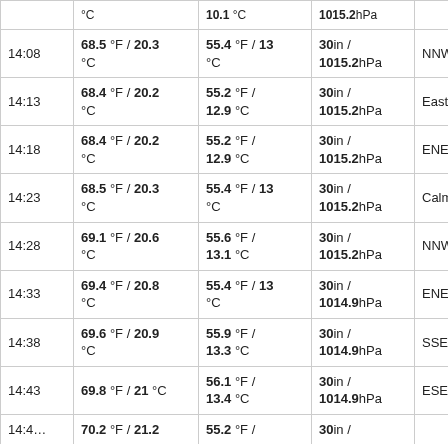| Time | Temp | Dew Point | Pressure | Wind |  |
| --- | --- | --- | --- | --- | --- |
| 14:08 | 68.5 °F / 20.3 °C | 55.4 °F / 13 °C | 30in / 1015.2hPa | NNW |  |
| 14:13 | 68.4 °F / 20.2 °C | 55.2 °F / 12.9 °C | 30in / 1015.2hPa | East |  |
| 14:18 | 68.4 °F / 20.2 °C | 55.2 °F / 12.9 °C | 30in / 1015.2hPa | ENE |  |
| 14:23 | 68.5 °F / 20.3 °C | 55.4 °F / 13 °C | 30in / 1015.2hPa | Calm |  |
| 14:28 | 69.1 °F / 20.6 °C | 55.6 °F / 13.1 °C | 30in / 1015.2hPa | NNW |  |
| 14:33 | 69.4 °F / 20.8 °C | 55.4 °F / 13 °C | 30in / 1014.9hPa | ENE |  |
| 14:38 | 69.6 °F / 20.9 °C | 55.9 °F / 13.3 °C | 30in / 1014.9hPa | SSE |  |
| 14:43 | 69.8 °F / 21 °C | 56.1 °F / 13.4 °C | 30in / 1014.9hPa | ESE |  |
| 14:4… | 70.2 °F / 21.2 °C | 55.2 °F / … | 30in / … | … |  |